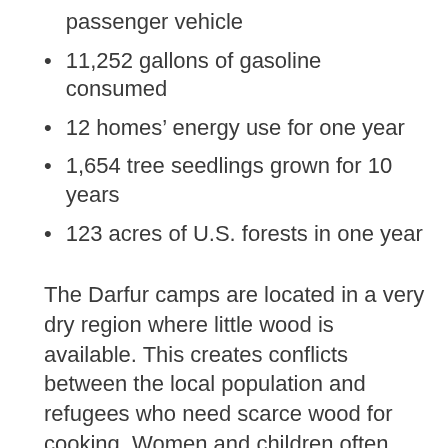passenger vehicle
11,252 gallons of gasoline consumed
12 homes’ energy use for one year
1,654 tree seedlings grown for 10 years
123 acres of U.S. forests in one year
The Darfur camps are located in a very dry region where little wood is available. This creates conflicts between the local population and refugees who need scarce wood for cooking. Women and children often have to travel long distances to get wood and they are regularly harassed, assaulted, abducted or, in the worst case, do not return at all.